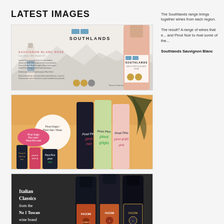LATEST IMAGES
[Figure (photo): Southlands Sauvignon Blanc Rosé product promotional image showing wine bottle and label details with mountain background]
[Figure (photo): Pinot Grigio, Pinot Noir, Pinot Grigio Rosé wine bottles and cans promotional image with pink badge and palm leaf]
[Figure (photo): Italian Classics wine bottles (Chianti, Merlot, Chianti Riserva) on dark background with text: Italian Classics from the No 1 Tuscan wine brand in the UK*]
The Southlands range brings together wines from each region.
The result? A range of wines that e... and Pinot Noir to rival some of the...
Southlands Sauvignon Blanc